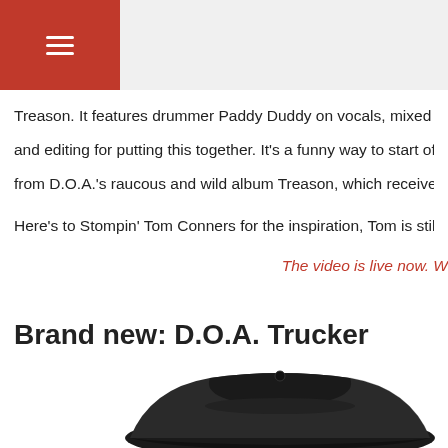≡ (hamburger menu button)
Treason. It features drummer Paddy Duddy on vocals, mixed with Joe and editing for putting this together. It's a funny way to start off wha from D.O.A.'s raucous and wild album Treason, which received rave re
Here's to Stompin' Tom Conners for the inspiration, Tom is still a real C
The video is live now. W
Brand new: D.O.A. Trucker Hats!
June 22nd, 2021 Posted by SDR WebMaster in SDR News
Now that we are all getting vaccinated, we are all going to be able to ta this brand new D.O.A. truckers hat. This hat will let 'em know you mea
[Figure (photo): Partial image of a dark D.O.A. trucker hat at the bottom of the page]